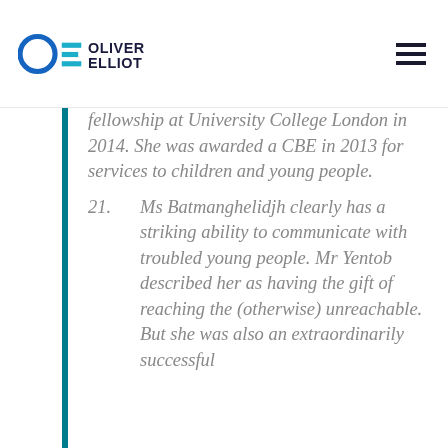Oliver Elliot
fellowship at University College London in 2014. She was awarded a CBE in 2013 for services to children and young people.
21. Ms Batmanghelidjh clearly has a striking ability to communicate with troubled young people. Mr Yentob described her as having the gift of reaching the (otherwise) unreachable. But she was also an extraordinarily successful